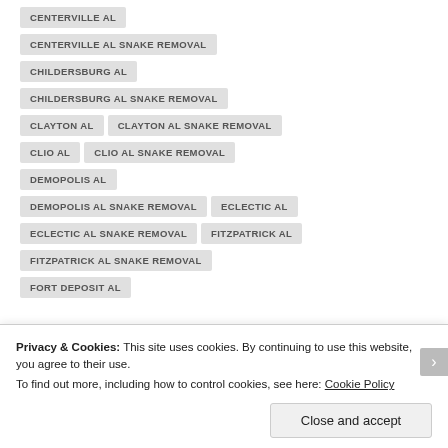CENTERVILLE AL
CENTERVILLE AL SNAKE REMOVAL
CHILDERSBURG AL
CHILDERSBURG AL SNAKE REMOVAL
CLAYTON AL
CLAYTON AL SNAKE REMOVAL
CLIO AL
CLIO AL SNAKE REMOVAL
DEMOPOLIS AL
DEMOPOLIS AL SNAKE REMOVAL
ECLECTIC AL
ECLECTIC AL SNAKE REMOVAL
FITZPATRICK AL
FITZPATRICK AL SNAKE REMOVAL
FORT DEPOSIT AL
Privacy & Cookies: This site uses cookies. By continuing to use this website, you agree to their use. To find out more, including how to control cookies, see here: Cookie Policy
Close and accept